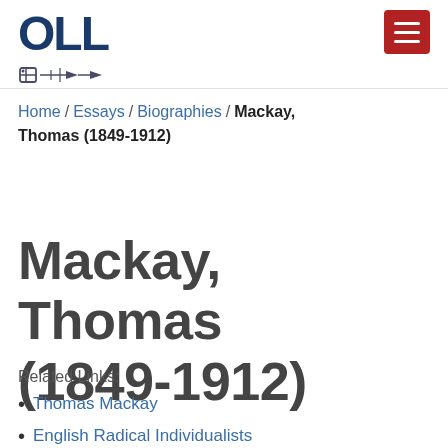[Figure (logo): OLL (Online Library of Liberty) logo with stylized text and icon]
Home / Essays / Biographies / Mackay, Thomas (1849-1912)
Mackay, Thomas (1849-1912)
Related Links:
Thomas Mackay
English Radical Individualists